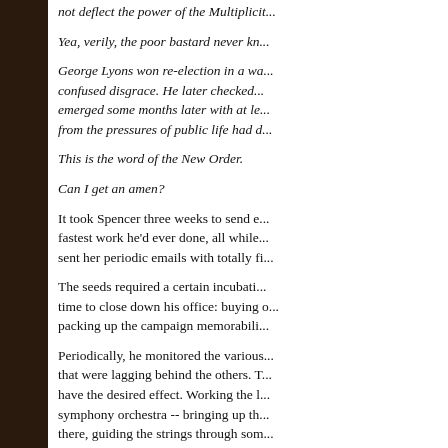not deflect the power of the Multiplicit...
Yea, verily, the poor bastard never kn...
George Lyons won re-election in a wa... confused disgrace. He later checked... emerged some months later with at le... from the pressures of public life had d...
This is the word of the New Order.
Can I get an amen?
It took Spencer three weeks to send e... fastest work he'd ever done, all while... sent her periodic emails with totally fi...
The seeds required a certain incubati... time to close down his office: buying o... packing up the campaign memorabili...
Periodically, he monitored the various... that were lagging behind the others. T... have the desired effect. Working the l... symphony orchestra -- bringing up th... there, guiding the strings through som... a roaring crescendo.
So things progressed. He spotted one...